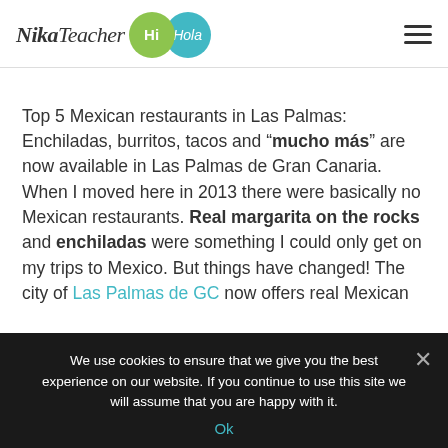NikaTeacher Hi Hola
Top 5 Mexican restaurants in Las Palmas: Enchiladas, burritos, tacos and “mucho más” are now available in Las Palmas de Gran Canaria. When I moved here in 2013 there were basically no Mexican restaurants. Real margarita on the rocks and enchiladas were something I could only get on my trips to Mexico. But things have changed! The city of Las Palmas de GC now offers real Mexican
We use cookies to ensure that we give you the best experience on our website. If you continue to use this site we will assume that you are happy with it. Ok